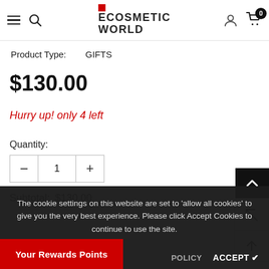ECOSMETIC WORLD — navigation header with menu, search, account, and cart (0 items)
Product Type:    GIFTS
$130.00
Hurry up! only 4 left
Quantity:
Subtotal:  $130.00
The cookie settings on this website are set to 'allow all cookies' to give you the very best experience. Please click Accept Cookies to continue to use the site.
Your Rewards Points
POLICY   ACCEPT ✔